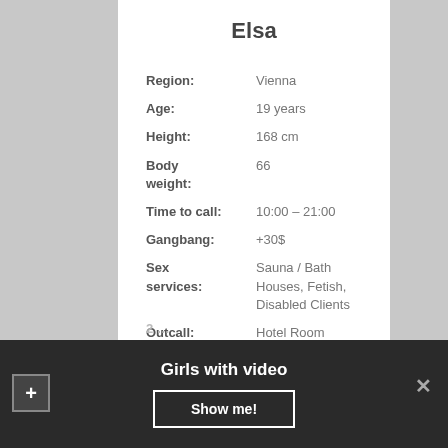Elsa
Region: Vienna
Age: 19 years
Height: 168 cm
Body weight: 66
Time to call: 10:00 – 21:00
Gangbang: +30$
Sex services: Sauna / Bath Houses, Fetish, Disabled Clients
Outcall: Hotel Room
1 HOUR: 100$
Girls with video
Show me!